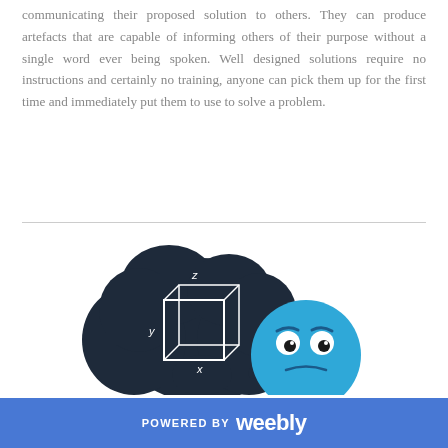communicating their proposed solution to others. They can produce artefacts that are capable of informing others of their purpose without a single word ever being spoken. Well designed solutions require no instructions and certainly no training, anyone can pick them up for the first time and immediately put them to use to solve a problem.
[Figure (illustration): A dark navy thought-bubble cloud containing a 3D wireframe cube with X, Y, Z axis labels, next to a round blue cartoon emoji face with a worried or confused expression.]
POWERED BY weebly